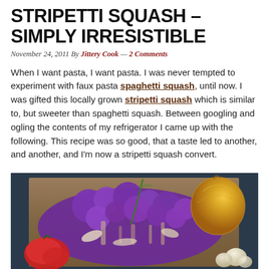STRIPETTI SQUASH – SIMPLY IRRESISTIBLE
November 24, 2011 By Jittery Cook — 2 Comments
When I want pasta, I want pasta. I was never tempted to experiment with faux pasta spaghetti squash, until now. I was gifted this locally grown stripetti squash which is similar to, but sweeter than spaghetti squash. Between googling and ogling the contents of my refrigerator I came up with the following.  This recipe was so good, that a taste led to another, and another, and I'm now a stripetti squash convert.
[Figure (photo): A cutting board with purple/violet broccoli florets, a large yellow onion, red peppers, and white garlic cloves arranged together as recipe ingredients.]